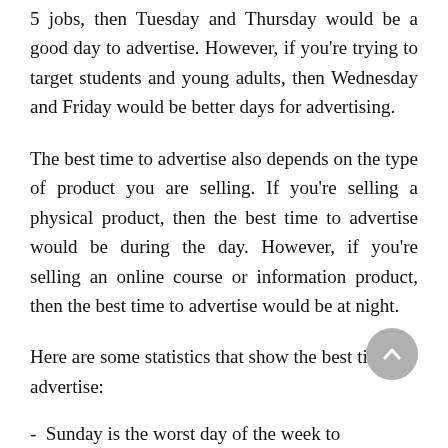5 jobs, then Tuesday and Thursday would be a good day to advertise. However, if you're trying to target students and young adults, then Wednesday and Friday would be better days for advertising.
The best time to advertise also depends on the type of product you are selling. If you're selling a physical product, then the best time to advertise would be during the day. However, if you're selling an online course or information product, then the best time to advertise would be at night.
Here are some statistics that show the best times to advertise:
- Sunday is the worst day of the week to